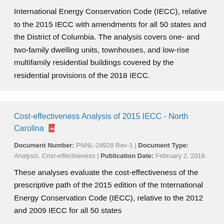International Energy Conservation Code (IECC), relative to the 2015 IECC with amendments for all 50 states and the District of Columbia. The analysis covers one- and two-family dwelling units, townhouses, and low-rise multifamily residential buildings covered by the residential provisions of the 2018 IECC.
Cost-effectiveness Analysis of 2015 IECC - North Carolina
Document Number: PNNL-24928 Rev-1 | Document Type: Analysis, Cost-effectiveness | Publication Date: February 2, 2016
These analyses evaluate the cost-effectiveness of the prescriptive path of the 2015 edition of the International Energy Conservation Code (IECC), relative to the 2012 and 2009 IECC for all 50 states